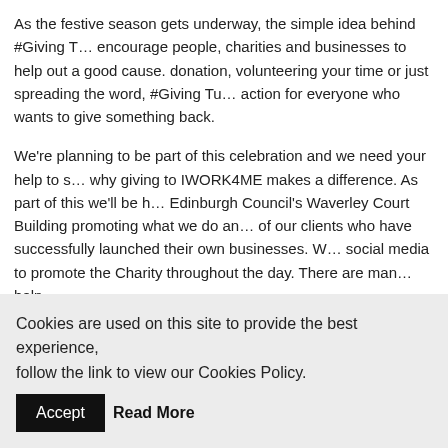As the festive season gets underway, the simple idea behind #Giving T… encourage people, charities and businesses to help out a good cause. donation, volunteering your time or just spreading the word, #Giving Tu… action for everyone who wants to give something back.
We're planning to be part of this celebration and we need your help to s… why giving to IWORK4ME makes a difference. As part of this we'll be h… Edinburgh Council's Waverley Court Building promoting what we do an… of our clients who have successfully launched their own businesses. W… social media to promote the Charity throughout the day. There are man… help…..
Have a great idea on how to give back on #Giving Tuesday? Shar…
Follow us on Facebook or Twitter and tell us about it using the #G… hashtag.
Follow @GivingTuesdayUK on Twitter, like their Facebook page a… website www.givingtuesday.org.uk as a supporter.
Cookies are used on this site to provide the best experience, follow the link to view our Cookies Policy.
Accept
Read More